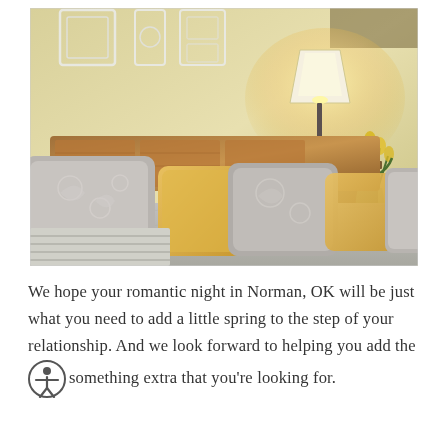[Figure (photo): Hotel bedroom photo showing a neatly made bed with grey floral pillows, yellow accent pillows, a wooden headboard, a bedside lamp glowing warmly, and a vase of yellow tulips on the nightstand. Room walls are light yellow.]
We hope your romantic night in Norman, OK will be just what you need to add a little spring to the step of your relationship. And we look forward to helping you add the something extra that you're looking for.